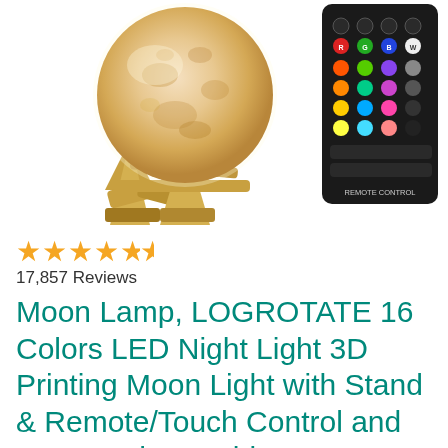[Figure (photo): Photo of a moon lamp glowing on a wooden stand, with a multicolor RGB remote control shown to the right. The lamp is spherical with a textured lunar surface appearance. Text 'REMOTE CONTROL' visible beneath the remote.]
★★★★★½ (4.5 stars)
17,857 Reviews
Moon Lamp, LOGROTATE 16 Colors LED Night Light 3D Printing Moon Light with Stand & Remote/Touch Control and USB Rechargeable, Moon